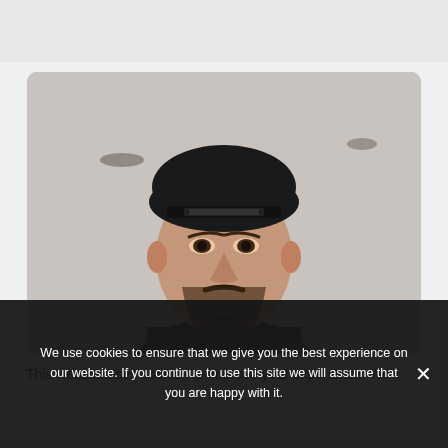[Figure (photo): A young man wearing a black backwards snapback cap, with a short beard and mustache, looking straight at the camera. He is wearing a dark shirt. The background is a blurred grey concrete wall with two small wall-mounted objects visible. The photo has rounded corners.]
This website uses cookies to improve your experience. We'll
We use cookies to ensure that we give you the best experience on our website. If you continue to use this site we will assume that you are happy with it.